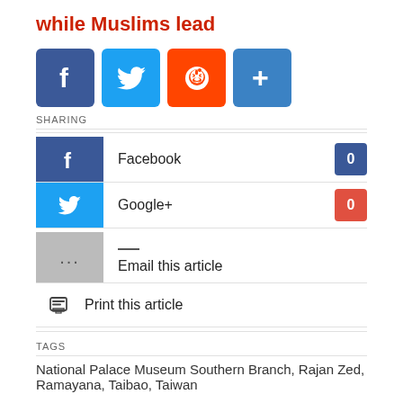while Muslims lead
[Figure (infographic): Social media sharing buttons: Facebook (blue), Twitter (light blue), Reddit (orange), and a plus/more button (blue)]
SHARING
Facebook 0
Google+ 0
... Email this article
Print this article
TAGS
National Palace Museum Southern Branch, Rajan Zed, Ramayana, Taibao, Taiwan